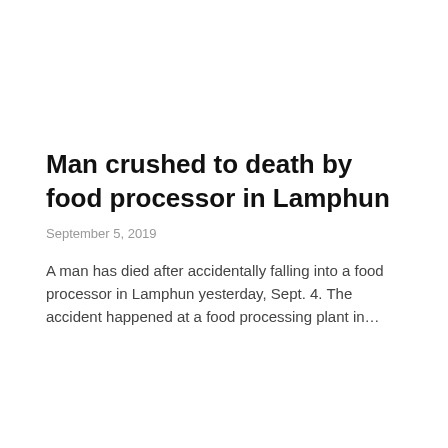Man crushed to death by food processor in Lamphun
September 5, 2019
A man has died after accidentally falling into a food processor in Lamphun yesterday, Sept. 4. The accident happened at a food processing plant in…